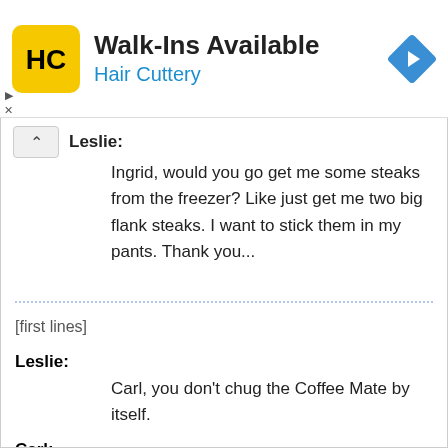[Figure (logo): Hair Cuttery advertisement banner with yellow HC logo, Walk-Ins Available text, Hair Cuttery subtitle in blue, and a blue diamond navigation icon]
Leslie: Ingrid, would you go get me some steaks from the freezer? Like just get me two big flank steaks. I want to stick them in my pants. Thank you...
[first lines]
Leslie: Carl, you don't chug the Coffee Mate by itself.
Carl: It doesn't say not to do it.